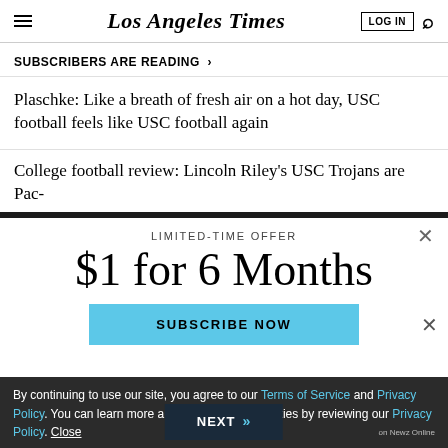Los Angeles Times
SUBSCRIBERS ARE READING >
Plaschke: Like a breath of fresh air on a hot day, USC football feels like USC football again
College football review: Lincoln Riley's USC Trojans are Pac-
LIMITED-TIME OFFER
$1 for 6 Months
SUBSCRIBE NOW
By continuing to use our site, you agree to our Terms of Service and Privacy Policy. You can learn more about how we use cookies by reviewing our Privacy Policy. Close